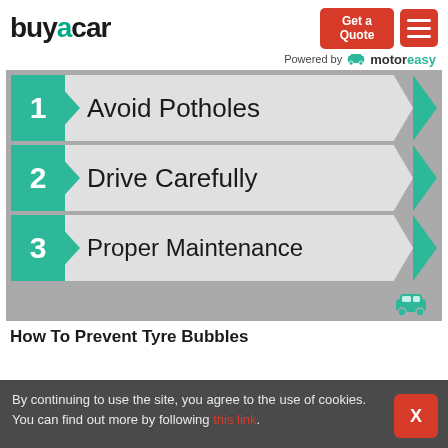[Figure (logo): buyacar logo with teal 'a' letter]
[Figure (infographic): Three numbered banner arrows: 1 Avoid Potholes, 2 Drive Carefully, 3 Proper Maintenance. Teal numbered boxes on left, grey arrow banners, teal chevron on right. Motoreasy car icon in footer strip.]
How To Prevent Tyre Bubbles
By continuing to use the site, you agree to the use of cookies. You can find out more by following this link.